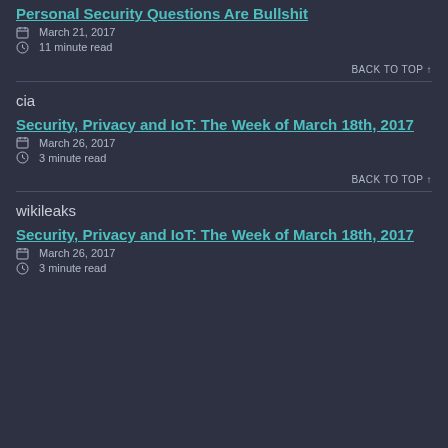Personal Security Questions Are Bullshit
March 21, 2017
11 minute read
BACK TO TOP ↑
cia
Security, Privacy and IoT: The Week of March 18th, 2017
March 26, 2017
3 minute read
BACK TO TOP ↑
wikileaks
Security, Privacy and IoT: The Week of March 18th, 2017
March 26, 2017
3 minute read